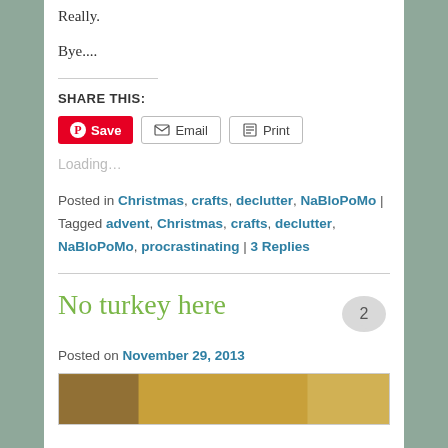Really.
Bye....
SHARE THIS:
Loading...
Posted in Christmas, crafts, declutter, NaBloPoMo | Tagged advent, Christmas, crafts, declutter, NaBloPoMo, procrastinating | 3 Replies
No turkey here
Posted on November 29, 2013
[Figure (photo): Partial image preview at bottom of page]